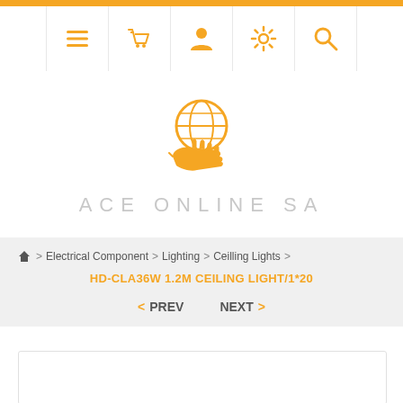ACE ONLINE SA navigation header with icons: menu, basket, user, settings, search
[Figure (logo): ACE ONLINE SA logo with globe and hand icon in orange, with text ACE ONLINE SA in light grey]
Home > Electrical Component > Lighting > Ceilling Lights > HD-CLA36W 1.2M CEILING LIGHT/1*20
< PREV   NEXT >
[Figure (photo): Product image card area (white box with border)]